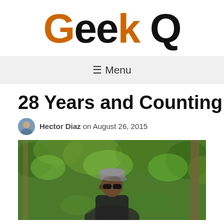Geek Q
☰ Menu
28 Years and Counting
Hector Diaz on August 26, 2015
[Figure (photo): Person wearing a grey cap and sunglasses outdoors in a green wooded area]